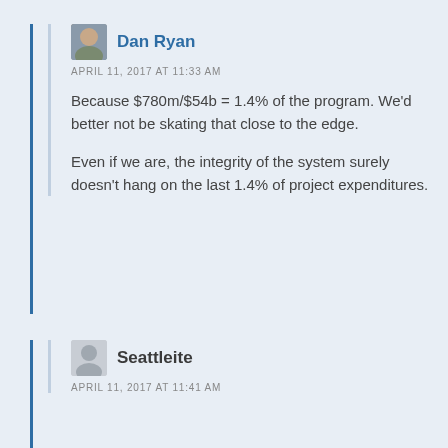Dan Ryan
APRIL 11, 2017 AT 11:33 AM
Because $780m/$54b = 1.4% of the program. We'd better not be skating that close to the edge.
Even if we are, the integrity of the system surely doesn't hang on the last 1.4% of project expenditures.
Seattleite
APRIL 11, 2017 AT 11:41 AM